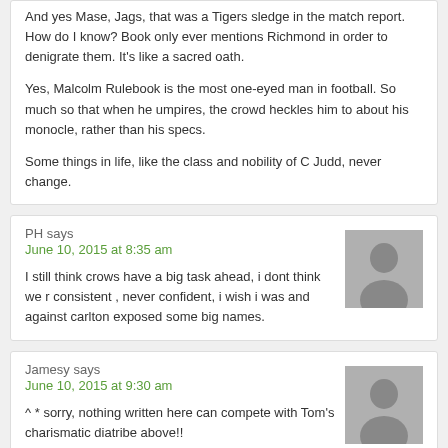And yes Mase, Jags, that was a Tigers sledge in the match report. How do I know? Book only ever mentions Richmond in order to denigrate them. It's like a sacred oath.

Yes, Malcolm Rulebook is the most one-eyed man in football. So much so that when he umpires, the crowd heckles him to about his monocle, rather than his specs.

Some things in life, like the class and nobility of C Judd, never change.
PH says
June 10, 2015 at 8:35 am
I still think crows have a big task ahead, i dont think we r consistent , never confident, i wish i was and against carlton exposed some big names.
Jamesy says
June 10, 2015 at 9:30 am
^ * sorry, nothing written here can compete with Tom's charismatic diatribe above!!
For Judd not to go out on his own terms is rough, but we all know fairy